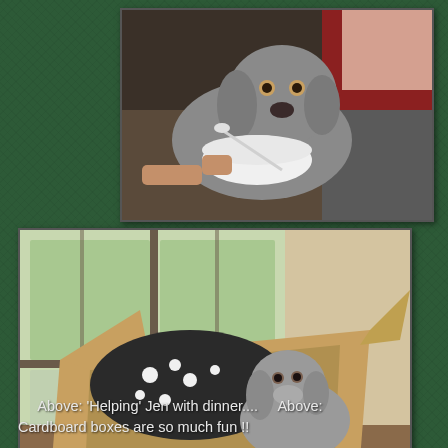[Figure (photo): A Weimaraner dog looking at a white bowl being held by a woman in a red jacket, as if begging for food or being fed with a spoon.]
[Figure (photo): A Weimaraner puppy sitting inside an open cardboard box, with a black-and-white patterned blanket or fabric also in the box, near a window with a view of greenery outside.]
Above: 'Helping' Jen with dinner....     Above: Cardboard boxes are so much fun !!